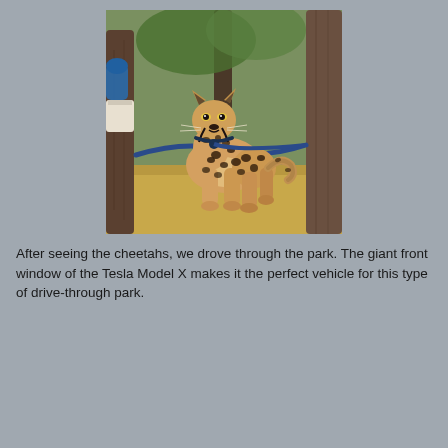[Figure (photo): A cheetah on a blue rope leash sitting in a dry grassy area between tree trunks outdoors. A person wearing blue gloves is partially visible on the left holding a white bucket.]
After seeing the cheetahs, we drove through the park. The giant front window of the Tesla Model X makes it the perfect vehicle for this type of drive-through park.